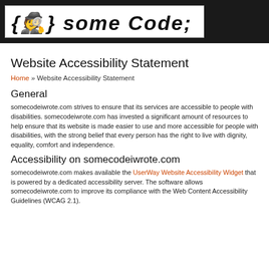[Figure (logo): Logo banner with white box on dark background reading '{} some code; i wrote' in graffiti/handwritten style font]
Website Accessibility Statement
Home » Website Accessibility Statement
General
somecodeiwrote.com strives to ensure that its services are accessible to people with disabilities. somecodeiwrote.com has invested a significant amount of resources to help ensure that its website is made easier to use and more accessible for people with disabilities, with the strong belief that every person has the right to live with dignity, equality, comfort and independence.
Accessibility on somecodeiwrote.com
somecodeiwrote.com makes available the UserWay Website Accessibility Widget that is powered by a dedicated accessibility server. The software allows somecodeiwrote.com to improve its compliance with the Web Content Accessibility Guidelines (WCAG 2.1).